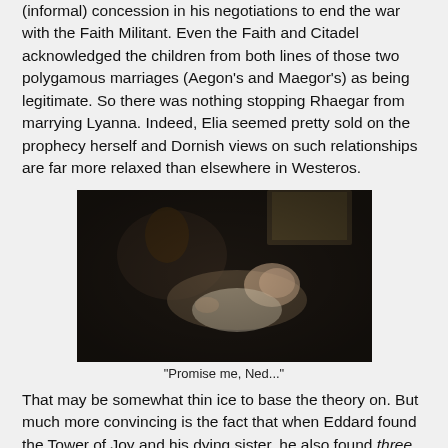(informal) concession in his negotiations to end the war with the Faith Militant. Even the Faith and Citadel acknowledged the children from both lines of those two polygamous marriages (Aegon's and Maegor's) as being legitimate. So there was nothing stopping Rhaegar from marrying Lyanna. Indeed, Elia seemed pretty sold on the prophecy herself and Dornish views on such relationships are far more relaxed than elsewhere in Westeros.
[Figure (photo): A dark scene showing two people, one leaning over the other who is lying down, in a dimly lit room. A window is visible in the background.]
"Promise me, Ned..."
That may be somewhat thin ice to base the theory on. But much more convincing is the fact that when Eddard found the Tower of Joy and his dying sister, he also found three knights of the King's guard, in addition to Ser Gerold...